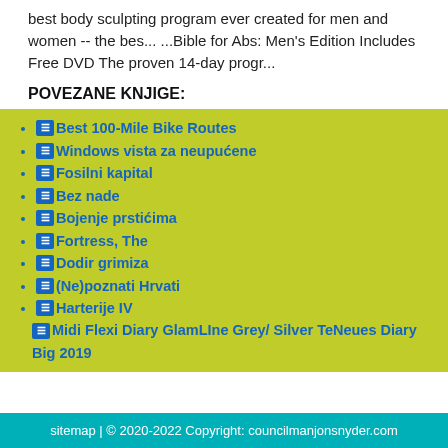best body sculpting program ever created for men and women -- the bes... ...Bible for Abs: Men's Edition Includes Free DVD The proven 14-day progr...
POVEZANE KNJIGE:
Best 100-Mile Bike Routes
Windows vista za neupućene
Fosilni kapital
Bez nade
Bojenje prstićima
Fortress, The
Dodir grimiza
(Ne)poznati Hrvati
Harterije IV
Midi Flexi Diary GlamLIne Grey/ Silver TeNeues Diary Big 2019
sitemap | © 2020-2022 Copyright: councilmanjonsnyder.com